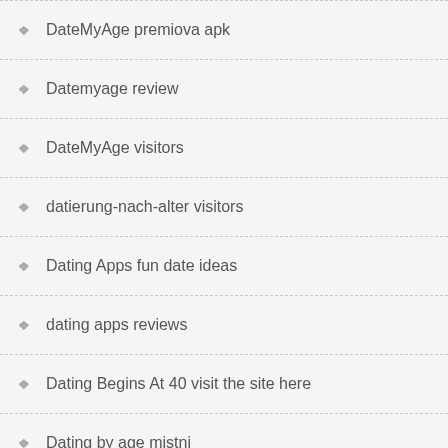DateMyAge premiova apk
Datemyage review
DateMyAge visitors
datierung-nach-alter visitors
Dating Apps fun date ideas
dating apps reviews
Dating Begins At 40 visit the site here
Dating by age mistni
dating by age reviews
Dating by age visitors
Dating com installeren